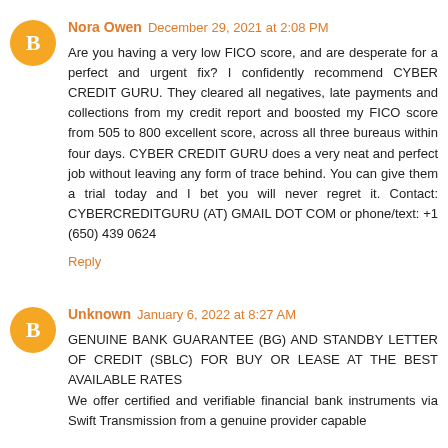Nora Owen December 29, 2021 at 2:08 PM
Are you having a very low FICO score, and are desperate for a perfect and urgent fix? I confidently recommend CYBER CREDIT GURU. They cleared all negatives, late payments and collections from my credit report and boosted my FICO score from 505 to 800 excellent score, across all three bureaus within four days. CYBER CREDIT GURU does a very neat and perfect job without leaving any form of trace behind. You can give them a trial today and I bet you will never regret it. Contact: CYBERCREDITGURU (AT) GMAIL DOT COM or phone/text: +1 (650) 439 0624
Reply
Unknown January 6, 2022 at 8:27 AM
GENUINE BANK GUARANTEE (BG) AND STANDBY LETTER OF CREDIT (SBLC) FOR BUY OR LEASE AT THE BEST AVAILABLE RATES
We offer certified and verifiable financial bank instruments via Swift Transmission from a genuine provider capable